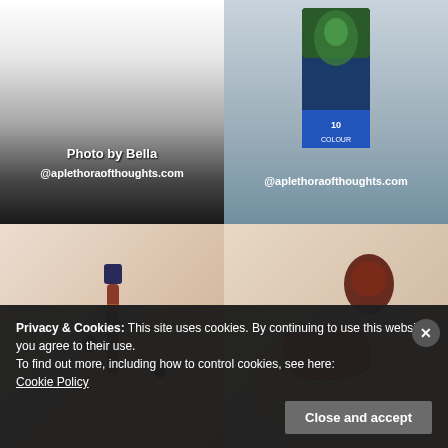[Figure (photo): Top-left photo: fading gradient image with text overlay 'Photo by Bella @aplethoraofthoughts.com']
[Figure (photo): Top-right photo: nail polish product box with parrot design, text overlay '@aplethoraofthoughts.com']
[Figure (photo): Bottom-left photo: hand holding a small lip gloss/lipstick tube]
[Figure (photo): Bottom-right photo: hand with red lipstick swatch on skin]
Privacy & Cookies: This site uses cookies. By continuing to use this website, you agree to their use.
To find out more, including how to control cookies, see here: Cookie Policy
Close and accept